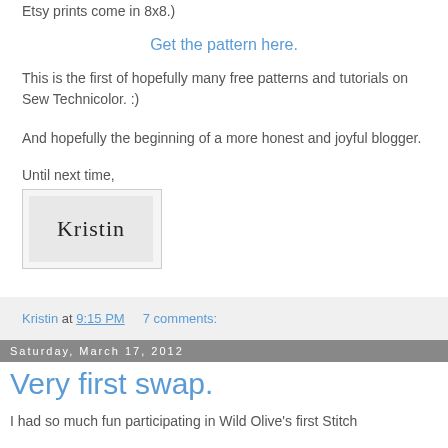Etsy prints come in 8x8.)
Get the pattern here.
This is the first of hopefully many free patterns and tutorials on Sew Technicolor. :)
And hopefully the beginning of a more honest and joyful blogger.
Until next time,
[Figure (illustration): Handwritten signature reading 'Kristin' inside a light gray framed box]
Kristin at 9:15 PM    7 comments:
Saturday, March 17, 2012
Very first swap.
I had so much fun participating in Wild Olive's first Stitch